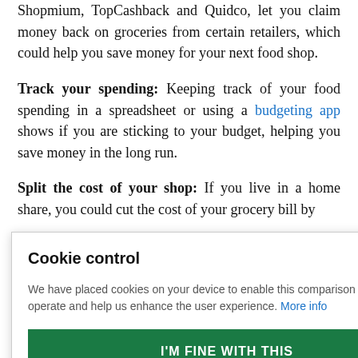Shopmium, TopCashback and Quidco, let you claim money back on groceries from certain retailers, which could help you save money for your next food shop.
Track your spending: Keeping track of your food spending in a spreadsheet or using a budgeting app shows if you are sticking to your budget, helping you save money in the long run.
Split the cost of your shop: If you live in a home share, you could cut the cost of your grocery bill by [ween] [dy if you shop] [st.]
Cookie control
We have placed cookies on your device to enable this comparison service to operate and help us enhance the user experience. More info
I'M FINE WITH THIS
ger containers are cheaper for storing food than single-use storage,